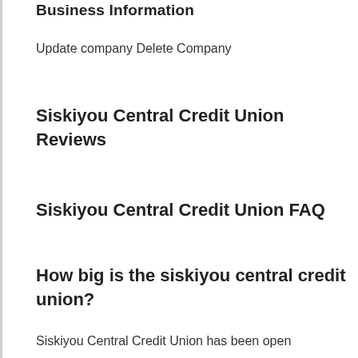Business Information
Update company Delete Company
Siskiyou Central Credit Union Reviews
Siskiyou Central Credit Union FAQ
How big is the siskiyou central credit union?
Siskiyou Central Credit Union has been open